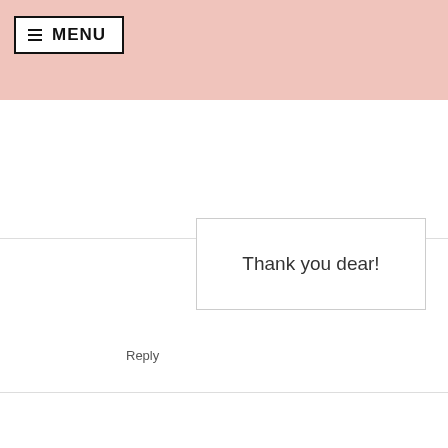MENU
Thank you dear!
Reply
CINDY  6:54 PM, APRIL 14, 2015
wow nice contest!!!grand prize winner must be awesome!
Reply
▾ Replies
MIRIAM  7:13 PM, APRIL 14, 2015